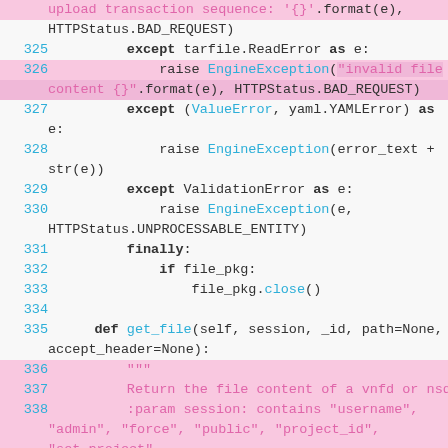Code snippet showing Python exception handling and file upload logic, lines 325-340